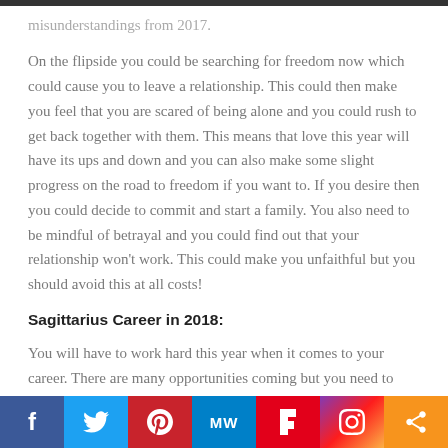misunderstandings from 2017.
On the flipside you could be searching for freedom now which could cause you to leave a relationship. This could then make you feel that you are scared of being alone and you could rush to get back together with them. This means that love this year will have its ups and down and you can also make some slight progress on the road to freedom if you want to. If you desire then you could decide to commit and start a family. You also need to be mindful of betrayal and you could find out that your relationship won't work. This could make you unfaithful but you should avoid this at all costs!
Sagittarius Career in 2018:
You will have to work hard this year when it comes to your career. There are many opportunities coming but you need to
Facebook | Twitter | Pinterest | MW | Flipboard | Instagram | Share